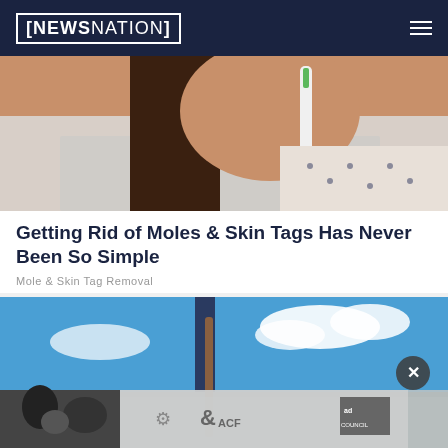NEWSNATION
[Figure (photo): Close-up of a person holding a device near their face/jaw, wearing a white patterned shirt]
Getting Rid of Moles & Skin Tags Has Never Been So Simple
Mole & Skin Tag Removal
[Figure (photo): Person standing on a rooftop or elevated surface with a cane/walking stick against a blue sky with clouds; lower portion shows an advertisement overlay with a black and white photo of people, ACF logo, and Ad Council branding. A close button (X) is visible.]